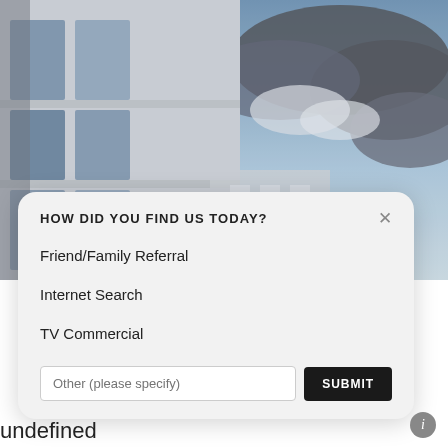[Figure (photo): Exterior photo of modern office building with glass windows on the left and a dramatic cloudy sky on the right. Buildings partially visible in the background.]
HOW DID YOU FIND US TODAY?
Friend/Family Referral
Internet Search
TV Commercial
Other (please specify)
SUBMIT
undefined